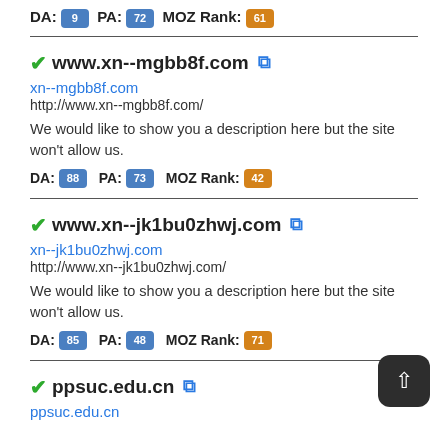DA: 9 PA: 72 MOZ Rank: 61
www.xn--mgbb8f.com
xn--mgbb8f.com
http://www.xn--mgbb8f.com/
We would like to show you a description here but the site won't allow us.
DA: 88 PA: 73 MOZ Rank: 42
www.xn--jk1bu0zhwj.com
xn--jk1bu0zhwj.com
http://www.xn--jk1bu0zhwj.com/
We would like to show you a description here but the site won't allow us.
DA: 85 PA: 48 MOZ Rank: 71
ppsuc.edu.cn
ppsuc.edu.cn